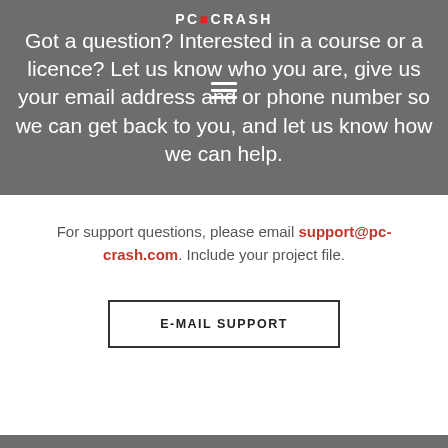PC-CRASH
Got a question? Interested in a course or a licence? Let us know who you are, give us your email address and or phone number so we can get back to you, and let us know how we can help.
For support questions, please email support@pc-crash.com. Include your project file.
E-MAIL SUPPORT